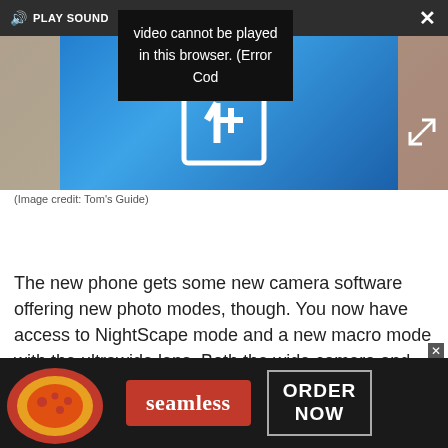[Figure (screenshot): Video player overlay showing error message 'Video cannot be played in this browser. (Error Cod' with PLAY SOUND label, speaker icon, close button (X), and expand button. Below is a photo of a OnePlus phone with blue back and OnePlus logo.]
(Image credit: Tom's Guide)
The new phone gets some new camera software offering new photo modes, though. You now have access to NightScape mode and a new macro mode with the ultrawide lens. Both the wide camera and
[Figure (screenshot): Advertisement banner for Seamless food delivery with pizza image on left, red 'seamless' button in center, and 'ORDER NOW' button on right on dark background.]